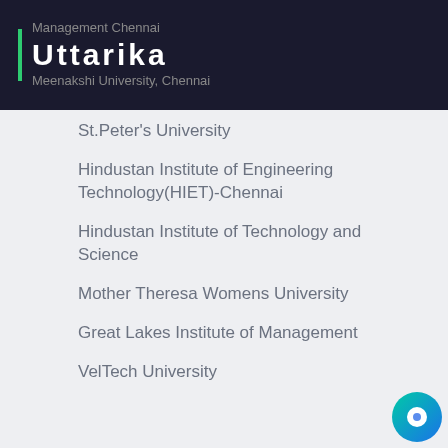Management Chennai | Uttarika | Meenakshi University, Chennai
St.Peter's University
Hindustan Institute of Engineering Technology(HIET)-Chennai
Hindustan Institute of Technology and Science
Mother Theresa Womens University
Great Lakes Institute of Management
VelTech University